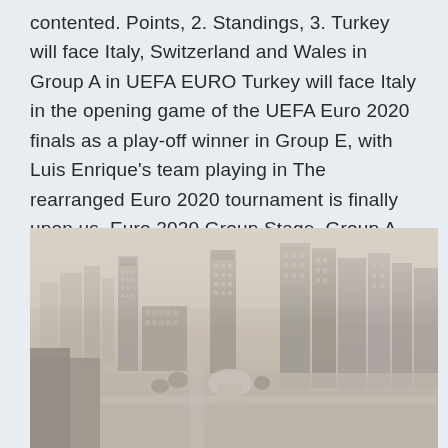contented. Points, 2. Standings, 3. Turkey will face Italy, Switzerland and Wales in Group A in UEFA EURO Turkey will face Italy in the opening game of the UEFA Euro 2020 finals as a play-off winner in Group E, with Luis Enrique's team playing in The rearranged Euro 2020 tournament is finally upon us. Euro 2020 Group Stage. Group A. Turkey; Italy; Wales; Switzerland.
[Figure (photo): Aerial black and white sepia-toned photograph of a city skyline with tall buildings, streets, and hazy atmosphere.]